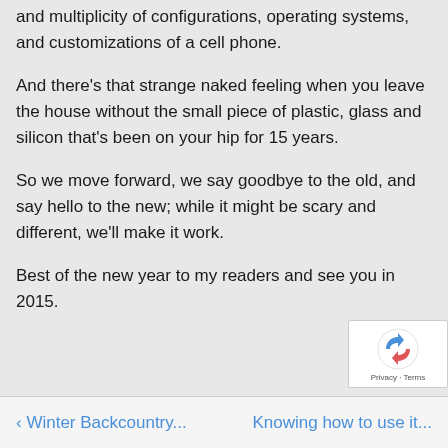and multiplicity of configurations, operating systems, and customizations of a cell phone.
And there's that strange naked feeling when you leave the house without the small piece of plastic, glass and silicon that's been on your hip for 15 years.
So we move forward, we say goodbye to the old, and say hello to the new; while it might be scary and different, we'll make it work.
Best of the new year to my readers and see you in 2015.
‹ Winter Backcountry    Knowing how to use it